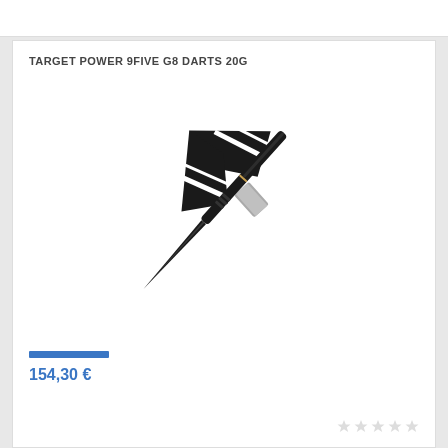TARGET POWER 9FIVE G8 DARTS 20G
[Figure (photo): A black dart with a black and white patterned flight, shown diagonally from upper-right to lower-left. The dart has a metallic barrel with grip rings, and a pointed steel tip.]
154,30 €